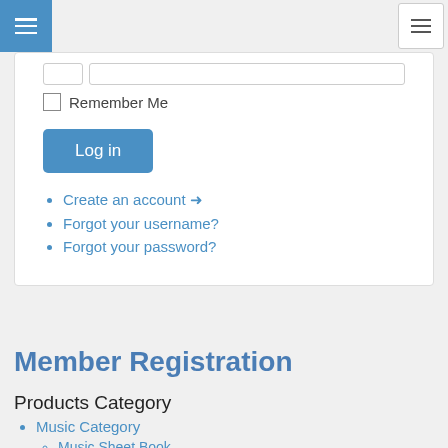[Figure (screenshot): Navigation bar with blue hamburger menu on left and grey hamburger menu button on right]
[Figure (screenshot): Login card with input field stub, Remember Me checkbox, Log in button]
Create an account →
Forgot your username?
Forgot your password?
Member Registration
Products Category
Music Category
Music Sheet Book
Piano/Keyboard